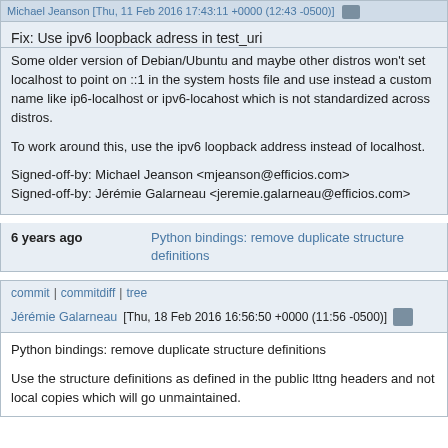Michael Jeanson [Thu, 11 Feb 2016 17:43:11 +0000 (12:43 -0500)]
Fix: Use ipv6 loopback adress in test_uri
Some older version of Debian/Ubuntu and maybe other distros won't set localhost to point on ::1 in the system hosts file and use instead a custom name like ip6-localhost or ipv6-locahost which is not standardized across distros.

To work around this, use the ipv6 loopback address instead of localhost.

Signed-off-by: Michael Jeanson <mjeanson@efficios.com>
Signed-off-by: Jérémie Galarneau <jeremie.galarneau@efficios.com>
6 years ago   Python bindings: remove duplicate structure definitions
commit | commitdiff | tree
Jérémie Galarneau [Thu, 18 Feb 2016 16:56:50 +0000 (11:56 -0500)]
Python bindings: remove duplicate structure definitions

Use the structure definitions as defined in the public lttng headers and not local copies which will go unmaintained.